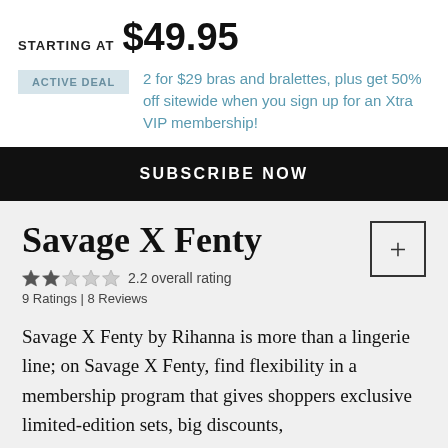STARTING AT $49.95
ACTIVE DEAL  2 for $29 bras and bralettes, plus get 50% off sitewide when you sign up for an Xtra VIP membership!
SUBSCRIBE NOW
Savage X Fenty
2.2 overall rating
9 Ratings | 8 Reviews
Savage X Fenty by Rihanna is more than a lingerie line; on Savage X Fenty, find flexibility in a membership program that gives shoppers exclusive limited-edition sets, big discounts,